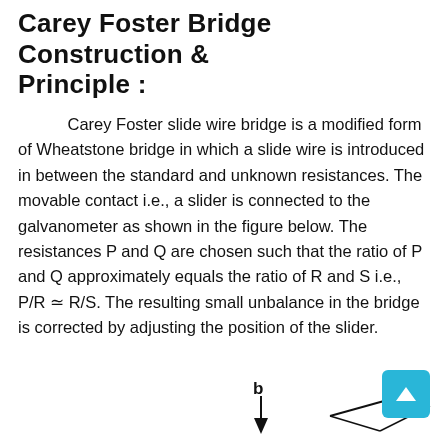Carey Foster Bridge Construction & Principle :
Carey Foster slide wire bridge is a modified form of Wheatstone bridge in which a slide wire is introduced in between the standard and unknown resistances. The movable contact i.e., a slider is connected to the galvanometer as shown in the figure below. The resistances P and Q are chosen such that the ratio of P and Q approximately equals the ratio of R and S i.e., P/R ≃ R/S. The resulting small unbalance in the bridge is corrected by adjusting the position of the slider.
[Figure (engineering-diagram): Partial view of a circuit diagram for the Carey Foster Bridge showing node label 'b' with an arrow/connector beginning at the bottom of the page.]